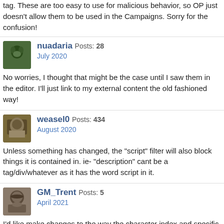tag. These are too easy to use for malicious behavior, so OP just doesn't allow them to be used in the Campaigns. Sorry for the confusion!
nuadaria Posts: 28 / July 2020
No worries, I thought that might be the case until I saw them in the editor. I'll just link to my external content the old fashioned way!
weasel0 Posts: 434 / August 2020
Unless something has changed, the "script" filter will also block things it is contained in. ie- "description" cant be a tag/div/whatever as it has the word script in it.
GM_Trent Posts: 5 / April 2021
I'd like make changes to the way the character index and specific character looks.
I've tried using CSS to do this, but I don't know what I am doing wrong